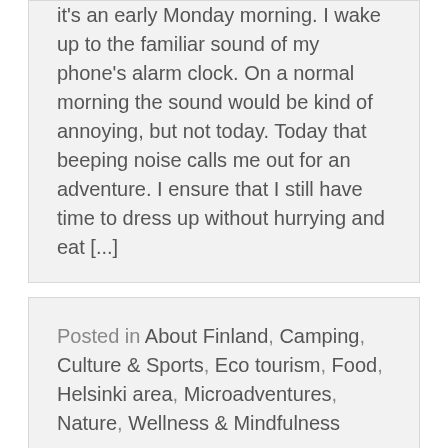It's an early Monday morning. I wake up to the familiar sound of my phone's alarm clock. On a normal morning the sound would be kind of annoying, but not today. Today that beeping noise calls me out for an adventure. I ensure that I still have time to dress up without hurrying and eat [...]
Posted in About Finland, Camping, Culture & Sports, Eco tourism, Food, Helsinki area, Microadventures, Nature, Wellness & Mindfulness
Paddling, one of the